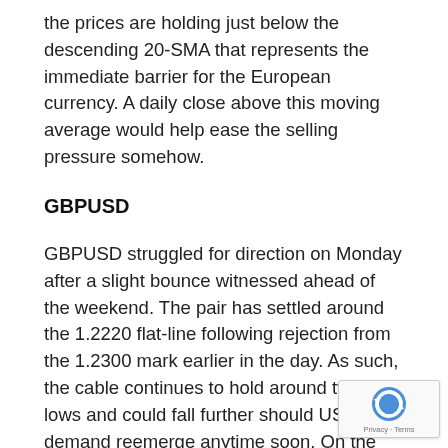the prices are holding just below the descending 20-SMA that represents the immediate barrier for the European currency. A daily close above this moving average would help ease the selling pressure somehow.
GBPUSD
GBPUSD struggled for direction on Monday after a slight bounce witnessed ahead of the weekend. The pair has settled around the 1.2220 flat-line following rejection from the 1.2300 mark earlier in the day. As such, the cable continues to hold around two-year lows and could fall further should USD demand reemerge anytime soon. On the downside, the immediate support now arrives at 1.2200, followed by the lowest level since May 2020 that capped the selling pressure around 1.2155 last we this zone gives up in the coming says, GBPUSD co derail the 1.2100 mark. On the shorter-term timeframes,